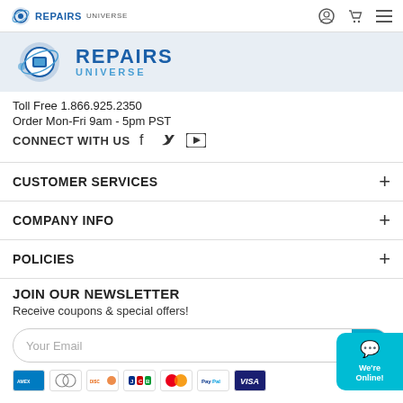Repairs Universe — navigation bar with logo, user icon, cart icon, menu icon
[Figure (logo): Repairs Universe large logo with globe/circuit icon and text REPAIRS UNIVERSE]
Toll Free 1.866.925.2350
Order Mon-Fri 9am - 5pm PST
CONNECT WITH US [Facebook] [Twitter] [YouTube]
CUSTOMER SERVICES
COMPANY INFO
POLICIES
JOIN OUR NEWSLETTER
Receive coupons & special offers!
Your Email   SU...
[Figure (other): Payment method icons: American Express, Diners Club, Discover, JCB, Mastercard, PayPal, Visa]
[Figure (other): Chat bubble: We're Online!]